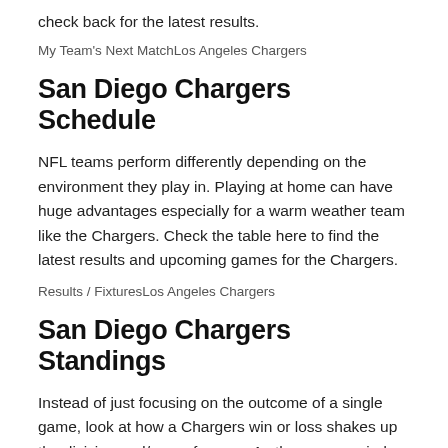check back for the latest results.
My Team's Next MatchLos Angeles Chargers
San Diego Chargers Schedule
NFL teams perform differently depending on the environment they play in. Playing at home can have huge advantages especially for a warm weather team like the Chargers. Check the table here to find the latest results and upcoming games for the Chargers.
Results / FixturesLos Angeles Chargers
San Diego Chargers Standings
Instead of just focusing on the outcome of a single game, look at how a Chargers win or loss shakes up the division and/or conference. As the season winds down to the final